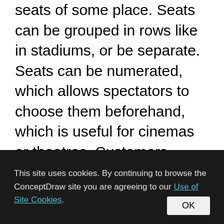seats of some place. Seats can be grouped in rows like in stadiums, or be separate. Seats can be numerated, which allows spectators to choose them beforehand, which is useful for cinemas or theatres. Customers choose places considering their proper price range and have a guaranteed seat. In addition, there is no point to arrive at the event early.
[Figure (other): Gray rounded rectangle box, partially visible at bottom of main content area]
This site uses cookies. By continuing to browse the ConceptDraw site you are agreeing to our Use of Site Cookies.